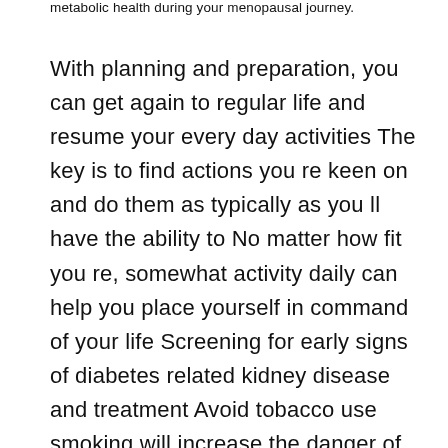metabolic health during your menopausal journey.
With planning and preparation, you can get again to regular life and resume your every day activities The key is to find actions you re keen on and do them as typically as you ll have the ability to No matter how fit you re, somewhat activity daily can help you place yourself in command of your life Screening for early signs of diabetes related kidney disease and treatment Avoid tobacco use smoking will increase the danger of diabetes and cardiovascular disease Aim for about 30 minutes of average aerobic exercise on most days of the week, or at least a hundred and fifty minutes of reasonable aerobic exercise every week.